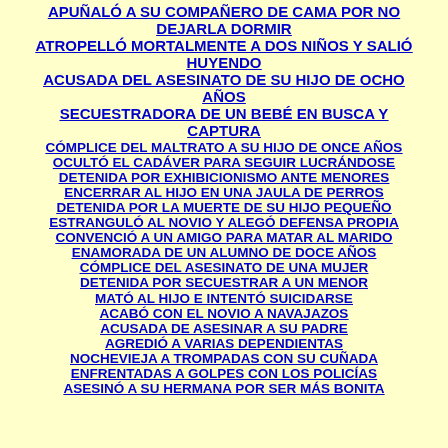APUÑALÓ A SU COMPAÑERO DE CAMA POR NO DEJARLA DORMIR
ATROPELLÓ MORTALMENTE A DOS NIÑOS Y SALIÓ HUYENDO
ACUSADA DEL ASESINATO DE SU HIJO DE OCHO AÑOS
SECUESTRADORA DE UN BEBÉ EN BUSCA Y CAPTURA
CÓMPLICE DEL MALTRATO A SU HIJO DE ONCE AÑOS
OCULTÓ EL CADÁVER PARA SEGUIR LUCRÁNDOSE
DETENIDA POR EXHIBICIONISMO ANTE MENORES
ENCERRAR AL HIJO EN UNA JAULA DE PERROS
DETENIDA POR LA MUERTE DE SU HIJO PEQUEÑO
ESTRANGULÓ AL NOVIO Y ALEGÓ DEFENSA PROPIA
CONVENCIÓ A UN AMIGO PARA MATAR AL MARIDO
ENAMORADA DE UN ALUMNO DE DOCE AÑOS
CÓMPLICE DEL ASESINATO DE UNA MUJER
DETENIDA POR SECUESTRAR A UN MENOR
MATÓ AL HIJO E INTENTÓ SUICIDARSE
ACABÓ CON EL NOVIO A NAVAJAZOS
ACUSADA DE ASESINAR A SU PADRE
AGREDIÓ A VARIAS DEPENDIENTAS
NOCHEVIEJA A TROMPADAS CON SU CUÑADA
ENFRENTADAS A GOLPES CON LOS POLICÍAS
ASESINÓ A SU HERMANA POR SER MÁS BONITA